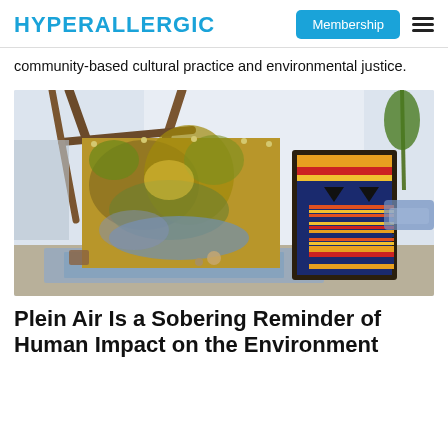HYPERALLERGIC
community-based cultural practice and environmental justice.
[Figure (photo): Art installation in a gallery showing a colorful nature-themed painting hung on a rustic wooden easel frame, with a framed woven textile in geometric patterns on the right, and art materials on the floor.]
Plein Air Is a Sobering Reminder of Human Impact on the Environment